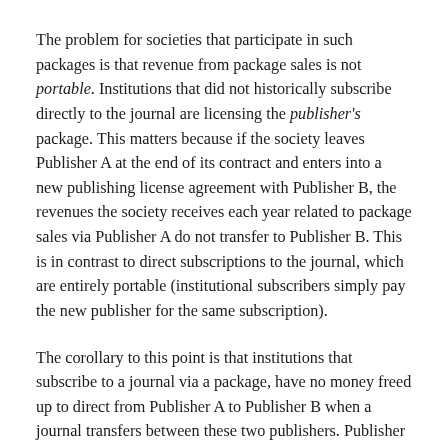The problem for societies that participate in such packages is that revenue from package sales is not portable. Institutions that did not historically subscribe directly to the journal are licensing the publisher's package. This matters because if the society leaves Publisher A at the end of its contract and enters into a new publishing license agreement with Publisher B, the revenues the society receives each year related to package sales via Publisher A do not transfer to Publisher B. This is in contrast to direct subscriptions to the journal, which are entirely portable (institutional subscribers simply pay the new publisher for the same subscription).
The corollary to this point is that institutions that subscribe to a journal via a package, have no money freed up to direct from Publisher A to Publisher B when a journal transfers between these two publishers. Publisher A does not reduce its package when a society journal leaves its portfolio. Publisher B therefore is constrained in raising the price of its packages when a new journal is included.